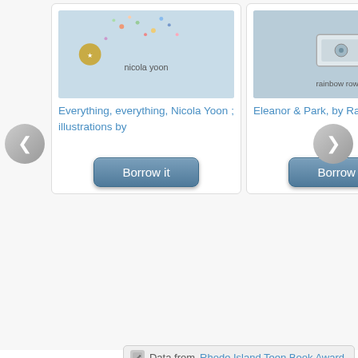[Figure (screenshot): Book card for 'Everything, everything, Nicola Yoon; illustrations by' with a cover image and 'Borrow it' button]
Everything, everything, Nicola Yoon ; illustrations by
[Figure (screenshot): Book card for 'Eleanor & Park, by Rainbow Rowell' with a cover image and 'Borrow it' button]
Eleanor & Park, by Rainbow Rowell
Data from Rhode Island Teen Book Award
6 Items in the List ≡ Romance -- It's a Classic
[Figure (screenshot): Bottom carousel showing book covers including Perfect Chemistry by Simone Elkeles with badges showing number 5 and 9]